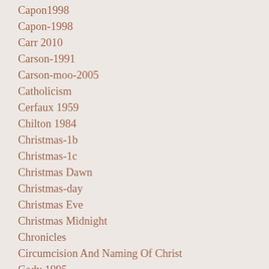Capon1998
Capon-1998
Carr 2010
Carson-1991
Carson-moo-2005
Catholicism
Cerfaux 1959
Chilton 1984
Christmas-1b
Christmas-1c
Christmas Dawn
Christmas-day
Christmas Eve
Christmas Midnight
Chronicles
Circumcision And Naming Of Christ
Cody 1995
Colossians
Confession Of Peter